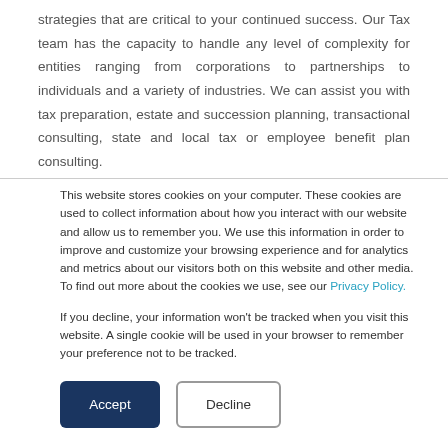strategies that are critical to your continued success. Our Tax team has the capacity to handle any level of complexity for entities ranging from corporations to partnerships to individuals and a variety of industries. We can assist you with tax preparation, estate and succession planning, transactional consulting, state and local tax or employee benefit plan consulting.
This website stores cookies on your computer. These cookies are used to collect information about how you interact with our website and allow us to remember you. We use this information in order to improve and customize your browsing experience and for analytics and metrics about our visitors both on this website and other media. To find out more about the cookies we use, see our Privacy Policy.
If you decline, your information won't be tracked when you visit this website. A single cookie will be used in your browser to remember your preference not to be tracked.